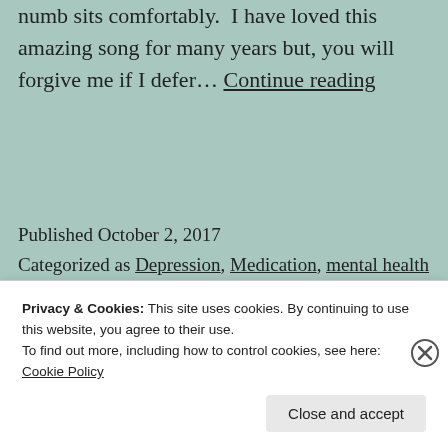numb sits comfortably.  I have loved this amazing song for many years but, you will forgive me if I defer… Continue reading
Published October 2, 2017
Categorized as Depression, Medication, mental health
Tagged despair, guilt, mental health, NHS, therapy
Privacy & Cookies: This site uses cookies. By continuing to use this website, you agree to their use.
To find out more, including how to control cookies, see here: Cookie Policy